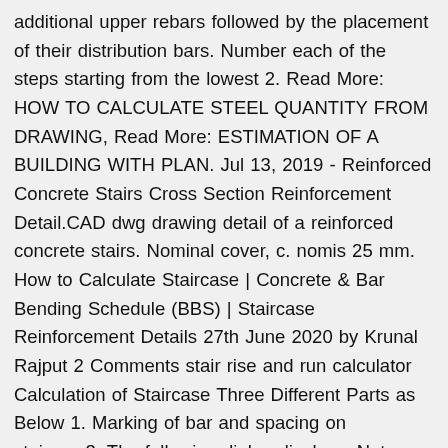additional upper rebars followed by the placement of their distribution bars. Number each of the steps starting from the lowest 2. Read More: HOW TO CALCULATE STEEL QUANTITY FROM DRAWING, Read More: ESTIMATION OF A BUILDING WITH PLAN. Jul 13, 2019 - Reinforced Concrete Stairs Cross Section Reinforcement Detail.CAD dwg drawing detail of a reinforced concrete stairs. Nominal cover, c. nomis 25 mm. How to Calculate Staircase | Concrete & Bar Bending Schedule (BBS) | Staircase Reinforcement Details 27th June 2020 by Krunal Rajput 2 Comments stair rise and run calculator Calculation of Staircase Three Different Parts as Below 1. Marking of bar and spacing on stairway.3. The following dialog displays: Note: The contents of the dialog depend on the stairs' scheme selected. grade 25 and strength of reinforcement of 500 N/mm2. No ring requirement = Length / Spacing. Indicate all the dimensions like tread widths & depths, total length & width of the stair, balustrade details etc. Stairs and Steps CAD Details. Here are the 20 steps for installation of rebar / reinforcement for staircase. Learn how to